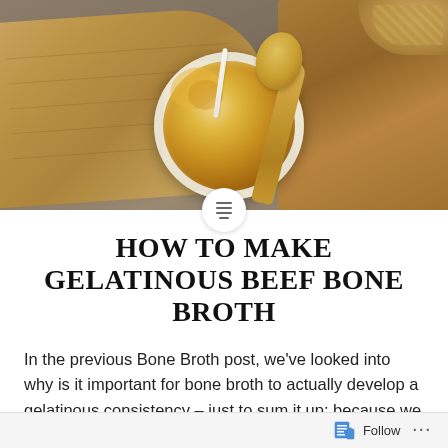[Figure (photo): Overhead photo of a glass bowl containing gelatinous beef bone broth on a wooden cutting board, with a wooden spoon nearby, a straw in the bowl, rope/twine in corner, on a gray fabric background.]
HOW TO MAKE GELATINOUS BEEF BONE BROTH
In the previous Bone Broth post, we've looked into why is it important for bone broth to actually develop a gelatinous consistency – just to sum it up: because we want that gelatine! The gelatine is one of the best parts of bone broth. If you've missed the
Follow ···